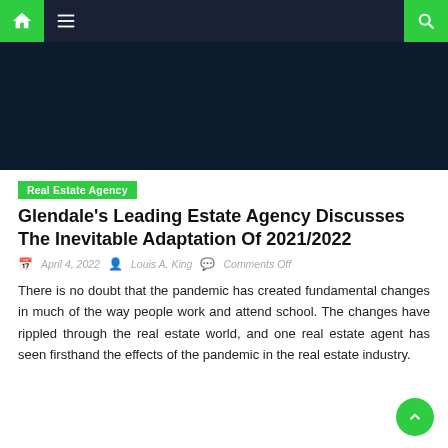Navigation bar with home, menu, and search icons
[Figure (photo): Dark navy blue hero image placeholder]
Real Estate Agency
Glendale’s Leading Estate Agency Discusses The Inevitable Adaptation Of 2021/2022
April 4, 2022  Louis A. King  Comments Off
There is no doubt that the pandemic has created fundamental changes in much of the way people work and attend school. The changes have rippled through the real estate world, and one real estate agent has seen firsthand the effects of the pandemic in the real estate industry.